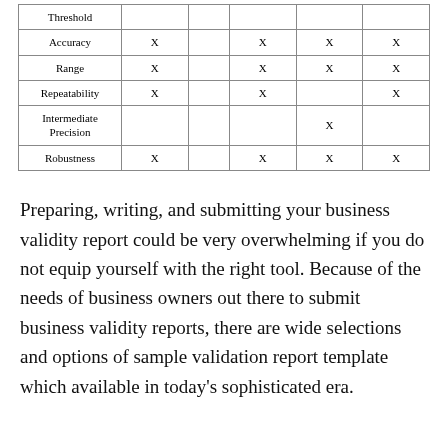| Threshold |  |  |  |  |  |
| --- | --- | --- | --- | --- | --- |
| Accuracy | X |  | X | X | X |
| Range | X |  | X | X | X |
| Repeatability | X |  | X |  | X |
| Intermediate Precision |  |  |  | X |  |
| Robustness | X |  | X | X | X |
Preparing, writing, and submitting your business validity report could be very overwhelming if you do not equip yourself with the right tool. Because of the needs of business owners out there to submit business validity reports, there are wide selections and options of sample validation report template which available in today's sophisticated era.